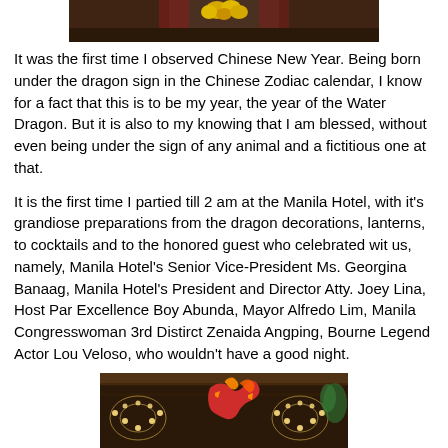[Figure (photo): Partial photo at top of page showing flowers, likely yellow decorations against a dark background]
It was the first time I observed Chinese New Year.  Being born under the dragon sign in the Chinese Zodiac calendar, I know for a fact that this is to be my year, the year of the Water Dragon.   But it is also to my knowing that I am blessed, without even being under the sign of any animal and a fictitious one at that.
It is the first time I partied till 2 am at the Manila Hotel,  with it's grandiose preparations from the dragon decorations, lanterns,  to cocktails and to the honored guest who celebrated wit us, namely,    Manila Hotel's Senior Vice-President Ms. Georgina Banaag,  Manila Hotel's President and Director Atty. Joey Lina, Host Par Excellence Boy Abunda,  Mayor Alfredo Lim, Manila Congresswoman 3rd Distirct Zenaida Angping,  Bourne Legend Actor Lou Veloso, who wouldn't have a good night.
[Figure (photo): Photo of Manila Hotel interior showing chandeliers and a colorful dragon decoration hanging from the ceiling]